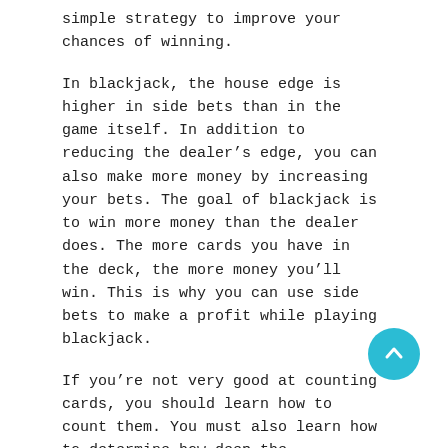simple strategy to improve your chances of winning.
In blackjack, the house edge is higher in side bets than in the game itself. In addition to reducing the dealer’s edge, you can also make more money by increasing your bets. The goal of blackjack is to win more money than the dealer does. The more cards you have in the deck, the more money you’ll win. This is why you can use side bets to make a profit while playing blackjack.
If you’re not very good at counting cards, you should learn how to count them. You must also learn how to determine how deep the penetration is. You can't win if you’re only aware of the depth of each card. If you aren't careful, you could lose the game. You should try to figure out what the dealer is doing to get that information before you play the game. If you’re lucky, you can increase your chances of winning big.
In blackjack, players usually have two to seven cards. The game is played with a standard international deck of 52 cards. The dealer gets a single card and the player is dealt two hands of cards by side. This process is called counting. If the dealer has a blackjack, the player receives two more cards, one after another. The dealer gets a card and the player has to hit or stand. A dealer will then take